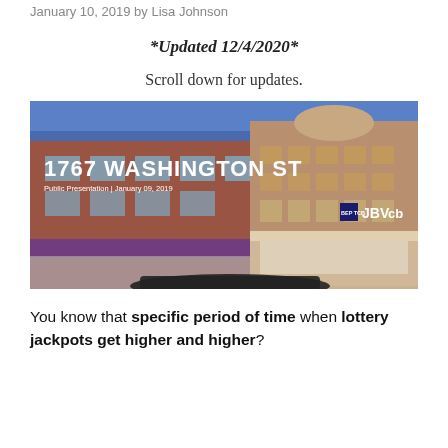January 10, 2019 by Lisa Johnson
*Updated 12/4/2020*
Scroll down for updates.
[Figure (photo): Presentation slide showing 1767 Washington St building — a street-level photo of urban buildings with text overlay reading '1767 WASHINGTON ST, Public Presentation | January 09, 2019' and logos for JBV and cb on the right side.]
You know that specific period of time when lottery jackpots get higher and higher?